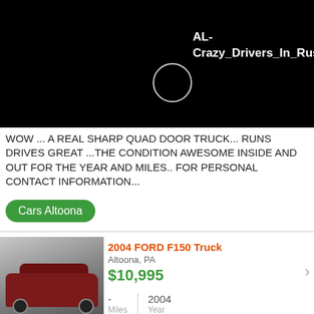[Figure (screenshot): Black video player area with a circular play/loading indicator and white text label 'AL-Crazy_Drivers_In_Russia' in upper right]
WOW ... A REAL SHARP QUAD DOOR TRUCK... RUNS DRIVES GREAT ...THE CONDITION AWESOME INSIDE AND OUT FOR THE YEAR AND MILES.. FOR PERSONAL CONTACT INFORMATION...
Cars Altoona
[Figure (photo): Thumbnail photo of a dark red 2004 Ford F150 truck parked in a driveway]
2004 FORD F150 Truck
Altoona, PA
$10,995
- Miles  2004 Year
A REAL SHARP LOADED WITH FEATURES F-150 SUPER CLEAN RUNS AND DRIVES GREAT PRICED TO SELL .... FOR PERSONAL CONTACT INFORMATION CALL 1-800 -567-6940 OR GO TO...
Cars Altoona